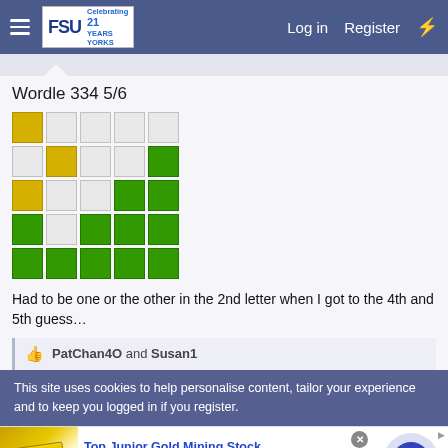FSU Forum — Log in  Register
Wordle 334 5/6
[Figure (other): Wordle 334 5/6 result grid. Row 1: yellow, white, white, white, white. Row 2: white, yellow, white, white, green. Row 3: yellow, white, white, green, green. Row 4: green, white, green, green, green. Row 5: green, green, green, green, green.]
Had to be one or the other in the 2nd letter when I got to the 4th and 5th guess…
👍 PatChan4O and Susan1
This site uses cookies to help personalise content, tailor your experience and to keep you logged in if you register.
[Figure (photo): Advertisement: Top Junior Gold Mining Stock. Get access to the next top mining 'Micro Cap' here! www.rivres.com. Shows gold bars image and arrow button.]